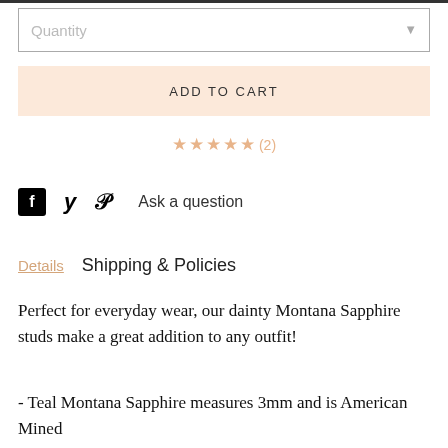Quantity
ADD TO CART
★★★★★(2)
f  𝕐  ℘  Ask a question
Details   Shipping & Policies
Perfect for everyday wear, our dainty Montana Sapphire studs make a great addition to any outfit!
- Teal Montana Sapphire measures 3mm and is American Mined